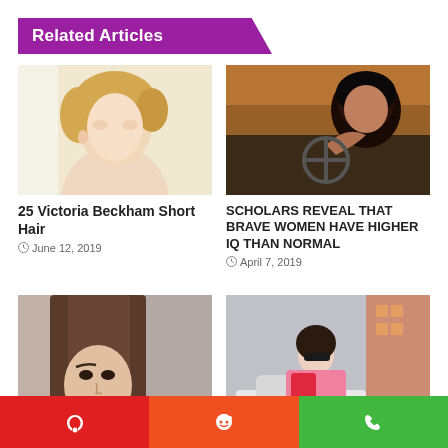Related Articles
[Figure (photo): Side profile of a woman with short blonde hair]
25 Victoria Beckham Short Hair
June 12, 2019
[Figure (photo): Woman driving a car, shouting or singing]
SCHOLARS REVEAL THAT BRAVE WOMEN HAVE HIGHER IQ THAN NORMAL
April 7, 2019
[Figure (photo): Close-up of a woman with straight brown hair]
[Figure (photo): Woman in pink and red outfit leaning on a car]